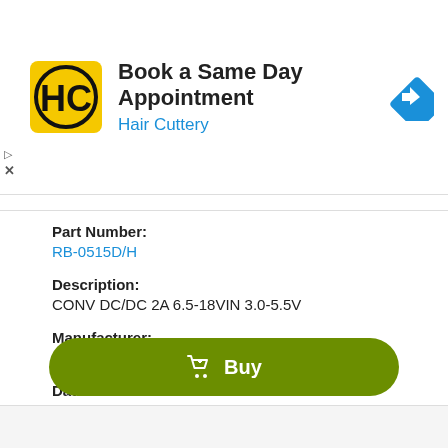[Figure (screenshot): Advertisement banner for Hair Cuttery with yellow/black HC logo, navigation arrow icon, title 'Book a Same Day Appointment' and brand name 'Hair Cuttery']
Part Number:
RB-0515D/H
Description:
CONV DC/DC 2A 6.5-18VIN 3.0-5.5V
Manufacturer:
Recom Power Inc
Datasheet:
RB-0505S.pdf  (3 pages)